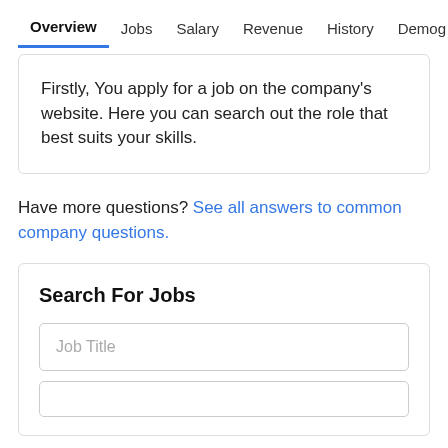Overview  Jobs  Salary  Revenue  History  Demog >
Firstly, You apply for a job on the company's website. Here you can search out the role that best suits your skills.
Have more questions? See all answers to common company questions.
Search For Jobs
Job Title